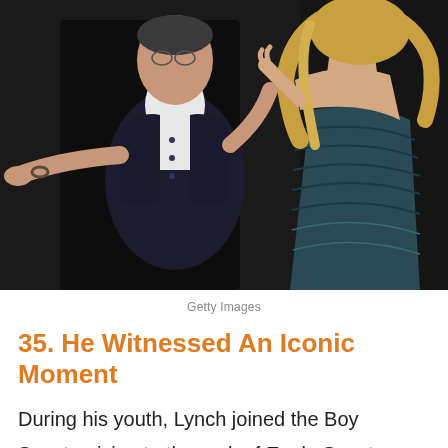[Figure (photo): Two people dancing at what appears to be a dark event. One person (left, male, wearing dark cardigan and white shirt) has arms outstretched toward a woman on the right who is wearing a dark patterned/sequined dress and has long blonde hair.]
Getty Images
35. He Witnessed An Iconic Moment
During his youth, Lynch joined the Boy Scouts, rising to the rank of Eagle Scout before he quit. Interestingly, Lynch was one